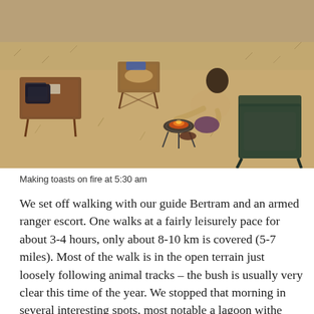[Figure (photo): Overhead/aerial view of a person crouching near a small campfire/portable grill making toast, with camp chairs and a wooden tray table with items on it, set on dry scrubland ground at dawn.]
Making toasts on fire at 5:30 am
We set off walking with our guide Bertram and an armed ranger escort. One walks at a fairly leisurely pace for about 3-4 hours, only about 8-10 km is covered (5-7 miles). Most of the walk is in the open terrain just loosely following animal tracks – the bush is usually very clear this time of the year. We stopped that morning in several interesting spots, most notable a lagoon withe plenty of waterbirds.